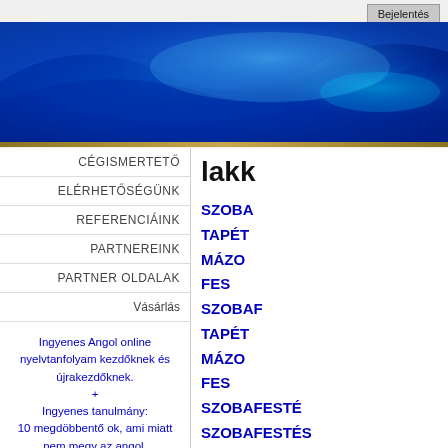Bejelentés
[Figure (illustration): Blue gradient banner with wave/light reflections in dark blue and cyan tones]
CÉGISMERTETŐ
ELÉRHETŐSÉGÜNK
REFERENCIÁINK
PARTNEREINK
PARTNER OLDALAK
Vásárlás
Ingyenes Angol online nyelvtanfolyam kezdőknek és újrakezdőknek.
+
Ingyenes tanulmány:
10 megdöbbentő ok, ami miatt nem megy az angol.
lakk
SZOBA
TAPÉT
MÁZO
FES
SZOBAF
TAPÉT
MÁZO
FES
SZOBAFESTÉ
SZOBAFESTÉS
SZOBAFEST
LAKÁS F
PINCE ME
LÉPCSŐHÁ
LAKÁS TAP